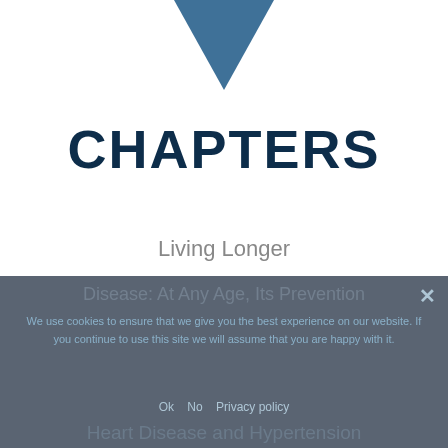[Figure (illustration): Dark blue downward-pointing triangle/arrow shape at the top center of the page]
CHAPTERS
Living Longer
Aging: It Can Be Delayed...and Reversed?
Disease: At Any Age, Its Prevention
Heart Disease and Hypertension
We use cookies to ensure that we give you the best experience on our website. If you continue to use this site we will assume that you are happy with it.
Ok   No   Privacy policy